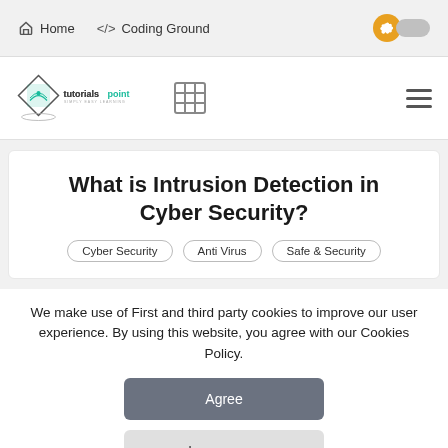Home   </> Coding Ground
[Figure (logo): Tutorialspoint logo with diamond shape and 'SIMPLY EASY LEARNING' tagline, table grid icon, and hamburger menu icon]
What is Intrusion Detection in Cyber Security?
Cyber Security
Anti Virus
Safe & Security
We make use of First and third party cookies to improve our user experience. By using this website, you agree with our Cookies Policy.
Agree
Learn more